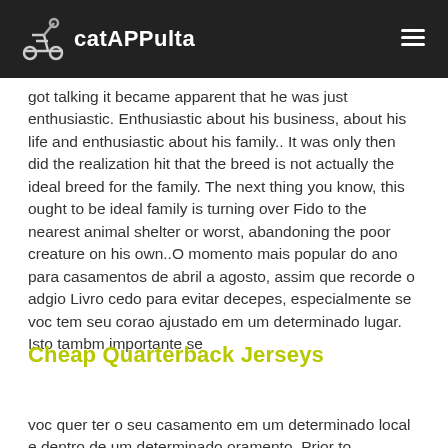catAPPulta
got talking it became apparent that he was just enthusiastic. Enthusiastic about his business, about his life and enthusiastic about his family.. It was only then did the realization hit that the breed is not actually the ideal breed for the family. The next thing you know, this ought to be ideal family is turning over Fido to the nearest animal shelter or worst, abandoning the poor creature on his own..O momento mais popular do ano para casamentos de abril a agosto, assim que recorde o adgio Livro cedo para evitar decepes, especialmente se voc tem seu corao ajustado em um determinado lugar. Isto tambm importante se
Cheap Quarterback Jerseys
voc quer ter o seu casamento em um determinado local e dentro de um determinado oramento..Prior to